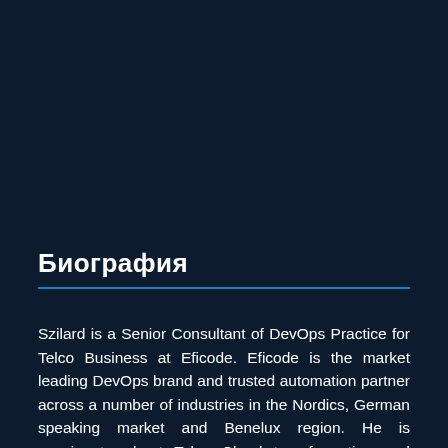Биография
Szilard is a Senior Consultant of DevOps Practice for Telco Business at Eficode. Eficode is the market leading DevOps brand and trusted automation partner across a number of industries in the Nordics, German speaking market and Benelux region. He is passionate about Telco Cloud transformation and helping CSP's capture the full value of 5G through DevOps. His team is working closely with major Mobile Network Operators providing management